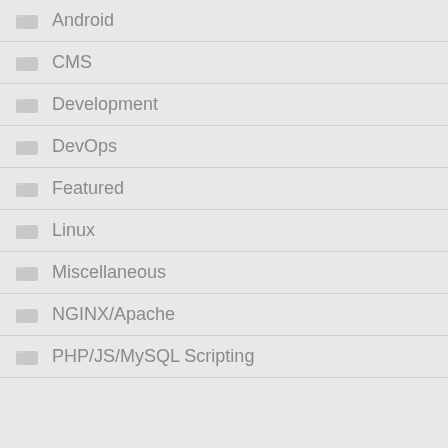Android
CMS
Development
DevOps
Featured
Linux
Miscellaneous
NGINX/Apache
PHP/JS/MySQL Scripting